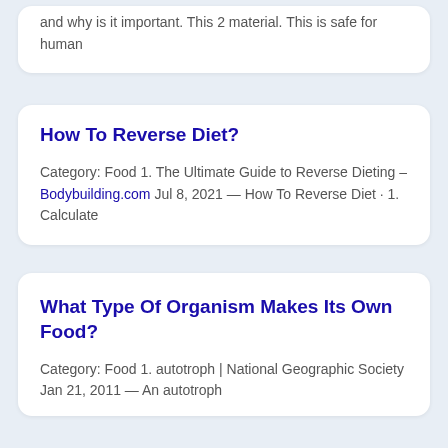and why is it important. This 2 material. This is safe for human
How To Reverse Diet?
Category: Food 1. The Ultimate Guide to Reverse Dieting – Bodybuilding.com Jul 8, 2021 — How To Reverse Diet · 1. Calculate
What Type Of Organism Makes Its Own Food?
Category: Food 1. autotroph | National Geographic Society Jan 21, 2011 — An autotroph